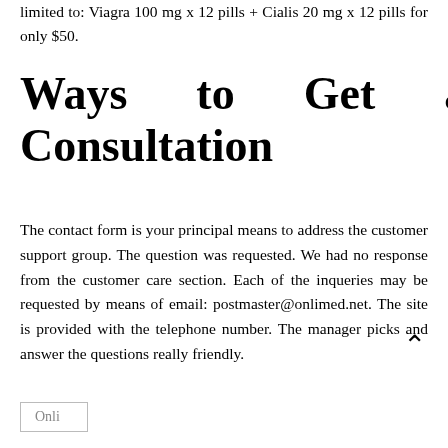limited to: Viagra 100 mg x 12 pills + Cialis 20 mg x 12 pills for only $50.
Ways to Get a Consultation
The contact form is your principal means to address the customer support group. The question was requested. We had no response from the customer care section. Each of the inqueries may be requested by means of email: postmaster@onlimed.net. The site is provided with the telephone number. The manager picks and answer the questions really friendly.
Onli